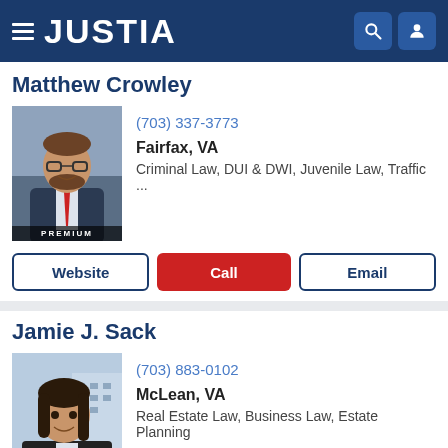JUSTIA
Matthew Crowley
(703) 337-3773
Fairfax, VA
Criminal Law, DUI & DWI, Juvenile Law, Traffic ...
[Figure (photo): Headshot photo of Matthew Crowley, male attorney with glasses and beard, wearing a suit with red tie. PREMIUM badge at bottom.]
Website
Call
Email
Jamie J. Sack
(703) 883-0102
McLean, VA
Real Estate Law, Business Law, Estate Planning
[Figure (photo): Headshot photo of Jamie J. Sack, female attorney with dark hair, smiling, with building in background. PREMIUM badge at bottom.]
Website
Call
Email